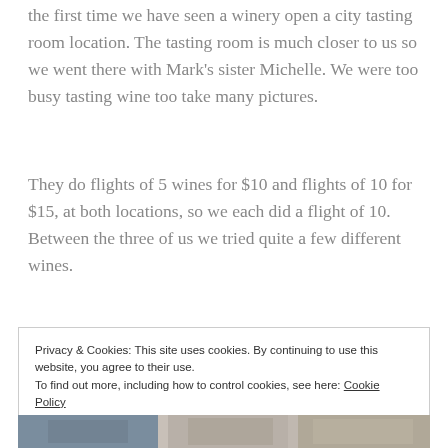the first time we have seen a winery open a city tasting room location. The tasting room is much closer to us so we went there with Mark's sister Michelle. We were too busy tasting wine too take many pictures.
They do flights of 5 wines for $10 and flights of 10 for $15, at both locations, so we each did a flight of 10. Between the three of us we tried quite a few different wines.
Privacy & Cookies: This site uses cookies. By continuing to use this website, you agree to their use.
To find out more, including how to control cookies, see here: Cookie Policy
Close and accept
[Figure (photo): Partial view of photo strip at bottom of page showing people or a location, partially obscured by cookie banner]